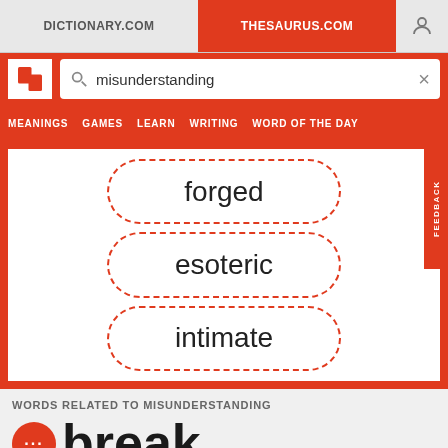DICTIONARY.COM | THESAURUS.COM
[Figure (screenshot): Search bar with magnifying glass icon and text 'misunderstanding' and an X close button]
MEANINGS  GAMES  LEARN  WRITING  WORD OF THE DAY
forged
esoteric
intimate
WORDS RELATED TO MISUNDERSTANDING
break